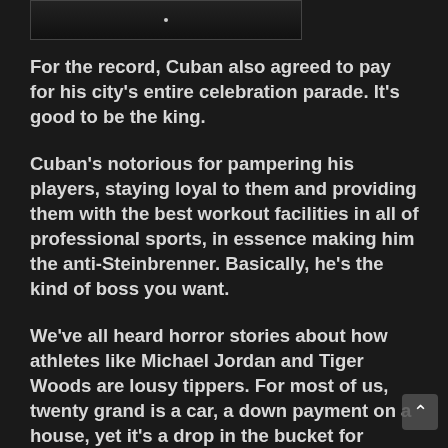[Figure (photo): Partial image at top, dark background with a small bright dot/light in center]
For the record, Cuban also agreed to pay for his city's entire celebration parade.  It's good to be the king.
Cuban's notorious for pampering his players, staying loyal to them and providing them with the best workout facilities in all of professional sports, in essence making him the anti-Steinbrenner.  Basically, he's the kind of boss you want.
We've all heard horror stories about how athletes like Michael Jordan and Tiger Woods are lousy tippers.  For most of us, twenty grand is a car, a down payment on a house, yet it's a drop in the bucket for Cuban